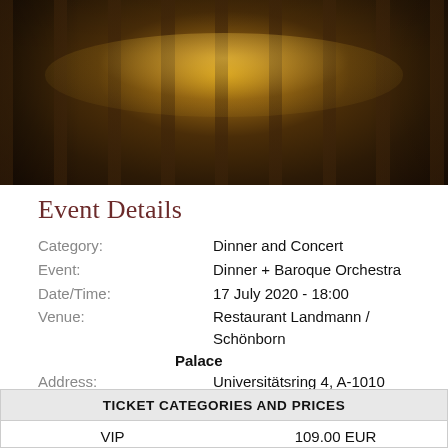[Figure (photo): Interior of an elegant restaurant dining room with dark wood paneling, booth seating with patterned upholstery, white table linens, and warm amber/gold chandelier lighting receding into the distance.]
Event Details
Category: Dinner and Concert
Event: Dinner + Baroque Orchestra
Date/Time: 17 July 2020 - 18:00
Venue: Restaurant Landmann / Schönborn Palace
Address: Universitätsring 4, A-1010 Wien/Vienna (Map)
| TICKET CATEGORIES AND PRICES |
| --- |
| VIP | 109.00 EUR |